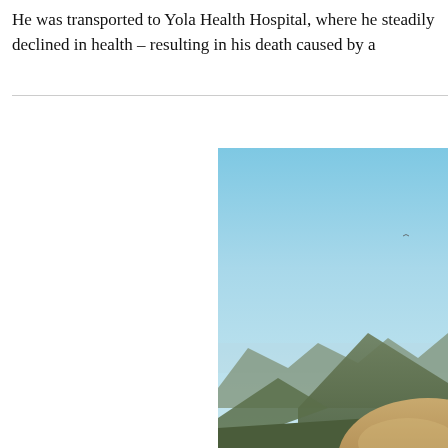He was transported to Yola Health Hospital, where he steadily declined in health – resulting in his death caused by a
[Figure (photo): Outdoor photograph showing a clear blue sky with mountains or rocky hills in the background, and the top of a round dome-like structure (possibly a large rock or building) visible at the bottom right. The scene appears to be in an arid or semi-arid landscape.]